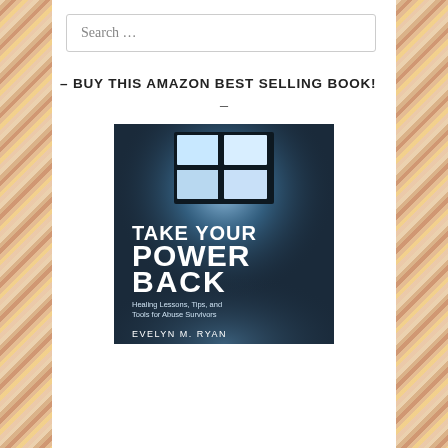Search …
– BUY THIS AMAZON BEST SELLING BOOK!
–
[Figure (photo): Book cover of 'Take Your Power Back: Healing Lessons, Tips, and Tools for Abuse Survivors' by Evelyn M. Ryan. Dark blue-toned image of prison-like window bars with bright light shining through. Title in large white bold letters, subtitle and author name below.]